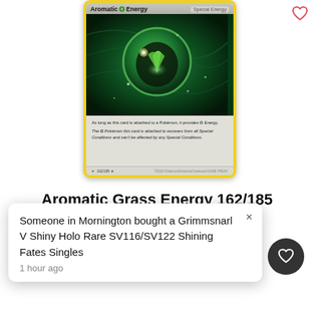[Figure (photo): Pokémon TCG card: Aromatic Grass Energy 162/185, Special Energy card with green grass energy symbol on dark green glowing background. Card has yellow border.]
Aromatic Grass Energy 162/185
Someone in Mornington bought a Grimmsnarl V Shiny Holo Rare SV116/SV122 Shining Fates Singles
1 hour ago